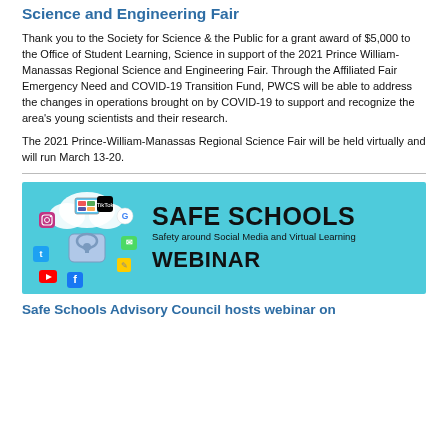Science and Engineering Fair
Thank you to the Society for Science & the Public for a grant award of $5,000 to the Office of Student Learning, Science in support of the 2021 Prince William-Manassas Regional Science and Engineering Fair. Through the Affiliated Fair Emergency Need and COVID-19 Transition Fund, PWCS will be able to address the changes in operations brought on by COVID-19 to support and recognize the area's young scientists and their research.
The 2021 Prince-William-Manassas Regional Science Fair will be held virtually and will run March 13-20.
[Figure (infographic): Safe Schools banner with teal background showing social media icons and a lock graphic on the left, with text reading 'SAFE SCHOOLS Safety around Social Media and Virtual Learning WEBINAR' on the right.]
Safe Schools Advisory Council hosts webinar on